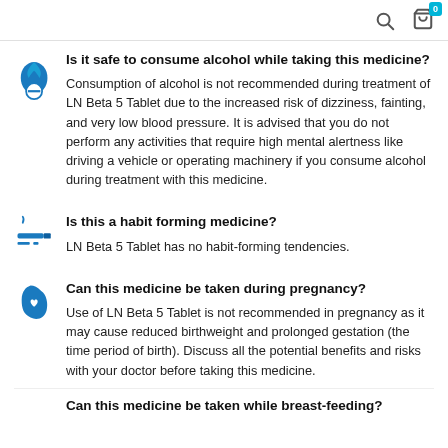Search | Cart (0)
Is it safe to consume alcohol while taking this medicine?
Consumption of alcohol is not recommended during treatment of LN Beta 5 Tablet due to the increased risk of dizziness, fainting, and very low blood pressure. It is advised that you do not perform any activities that require high mental alertness like driving a vehicle or operating machinery if you consume alcohol during treatment with this medicine.
Is this a habit forming medicine?
LN Beta 5 Tablet has no habit-forming tendencies.
Can this medicine be taken during pregnancy?
Use of LN Beta 5 Tablet is not recommended in pregnancy as it may cause reduced birthweight and prolonged gestation (the time period of birth). Discuss all the potential benefits and risks with your doctor before taking this medicine.
Can this medicine be taken while breast-feeding?